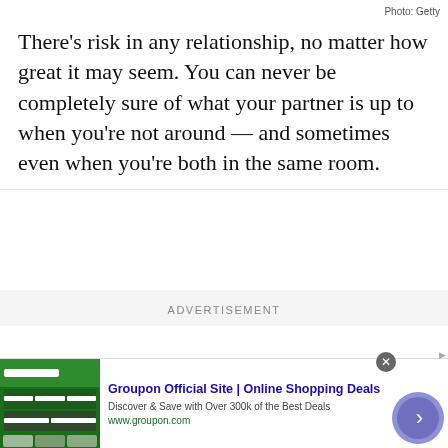Photo: Getty
There’s risk in any relationship, no matter how great it may seem. You can never be completely sure of what your partner is up to when you’re not around — and sometimes even when you’re both in the same room.
ADVERTISEMENT
[Figure (infographic): Groupon advertisement banner with logo image, title 'Groupon Official Site | Online Shopping Deals', description 'Discover & Save with Over 300k of the Best Deals', URL 'www.groupon.com', close button and navigation arrow]